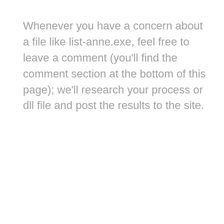Whenever you have a concern about a file like list-anne.exe, feel free to leave a comment (you'll find the comment section at the bottom of this page); we'll research your process or dll file and post the results to the site.